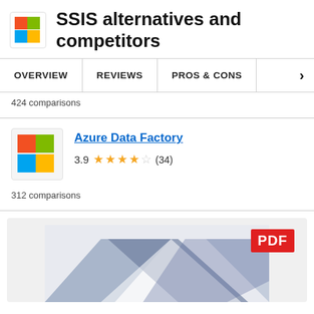SSIS alternatives and competitors
OVERVIEW   REVIEWS   PROS & CONS
424 comparisons
Azure Data Factory
3.9 ★★★½☆ (34)
312 comparisons
[Figure (other): PDF document preview image with geometric shapes in blue/grey tones and a red PDF badge in top right corner]